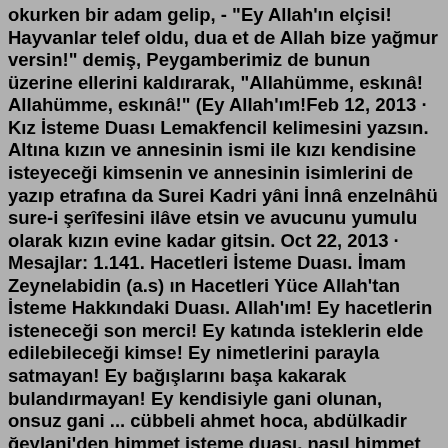okurken bir adam gelip, - "Ey Allah'ın elçisi! Hayvanlar telef oldu, dua et de Allah bize yağmur versin!" demiş, Peygamberimiz de bunun üzerine ellerini kaldırarak, "Allahümme, eskınâ! Allahümme, eskınâ!" (Ey Allah'ım!Feb 12, 2013 · Kız İsteme Duası Lemakfencil kelimesini yazsın. Altına kızın ve annesinin ismi ile kızı kendisine isteyeceği kimsenin ve annesinin isimlerini de yazıp etrafına da Surei Kadri yâni İnnâ enzelnâhü sure-i şerîfesini ilâve etsin ve avucunu yumulu olarak kızın evine kadar gitsin. Oct 22, 2013 · Mesajlar: 1.141. Hacetleri İsteme Duası. İmam Zeynelabidin (a.s) ın Hacetleri Yüce Allah'tan İsteme Hakkındaki Duası. Allah'ım! Ey hacetlerin isteneceği son merci! Ey katında isteklerin elde edilebileceği kimse! Ey nimetlerini parayla satmayan! Ey bağışlarını başa kakarak bulandırmayan! Ey kendisiyle gani olunan, onsuz gani ... cübbeli ahmet hoca, abdülkadir ğeylani'den himmet isteme duası, nasıl himmet istenir, ırak tarafına, 11 adım duası, on bir adım atarak okunan dua, okunacak dua, zikri, yardım isteme, yetiş ya